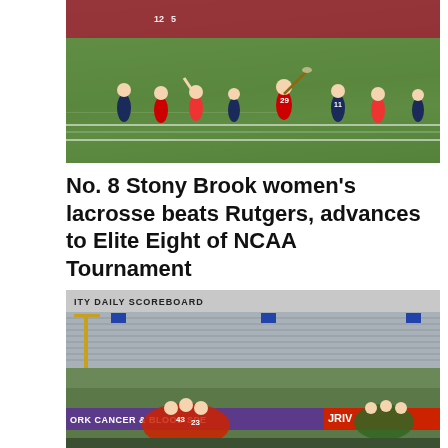[Figure (photo): Women's lacrosse players on green field, players in white/red Stony Brook uniforms and navy opponent uniforms, red bleachers/track visible in background]
No. 8 Stony Brook women's lacrosse beats Rutgers, advances to Elite Eight of NCAA Tournament
MAY 15, 2022
[Figure (photo): Women's lacrosse team huddle on field, scoreboard visible at top, purple banner reading 'ORK CANCER & BLOOD SPE', red banner with 'RIVI' text, green-uniformed players visible on right side]